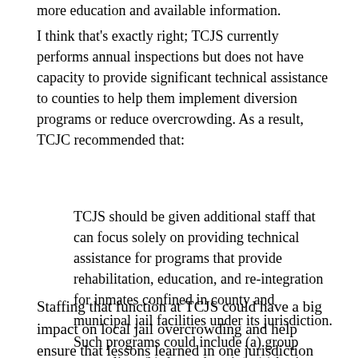more education and available information.
I think that's exactly right; TCJS currently performs annual inspections but does not have capacity to provide significant technical assistance to counties to help them implement diversion programs or reduce overcrowding. As a result, TCJC recommended that:
TCJS should be given additional staff that can focus solely on providing technical assistance for programs that provide rehabilitation, education, and re-integration for inmates confined in county and municipal jail facilities under its jurisdiction. Such programs could include (a) group counseling, (b) drug education, (c) basic education programs, (d) transition planning, and (d) aftercare planning.
Staffing that function at TCJS could have a big impact on local jail overcrowding and help ensure that lessons learned in one jurisdiction are